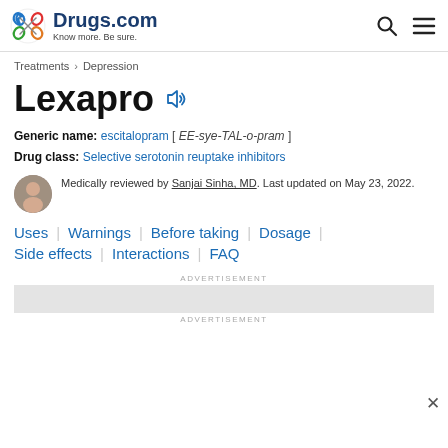Drugs.com — Know more. Be sure.
Treatments > Depression
Lexapro
Generic name: escitalopram [ EE-sye-TAL-o-pram ]
Drug class: Selective serotonin reuptake inhibitors
Medically reviewed by Sanjai Sinha, MD. Last updated on May 23, 2022.
Uses
Warnings
Before taking
Dosage
Side effects
Interactions
FAQ
ADVERTISEMENT